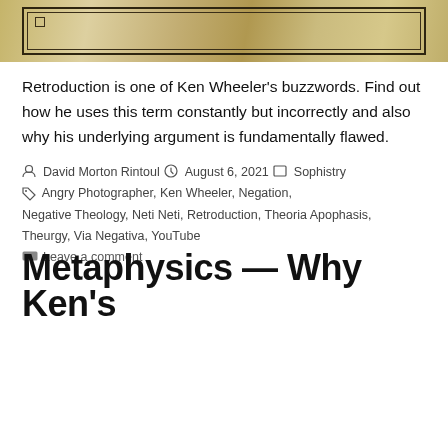[Figure (photo): Aged parchment or old paper texture background with a rectangular frame border drawn in dark ink, suggesting an old document or seal.]
Retroduction is one of Ken Wheeler's buzzwords. Find out how he uses this term constantly but incorrectly and also why his underlying argument is fundamentally flawed.
By David Morton Rintoul  August 6, 2021  Sophistry
Angry Photographer, Ken Wheeler, Negation, Negative Theology, Neti Neti, Retroduction, Theoria Apophasis, Theurgy, Via Negativa, YouTube
Leave a comment
Metaphysics — Why Ken's